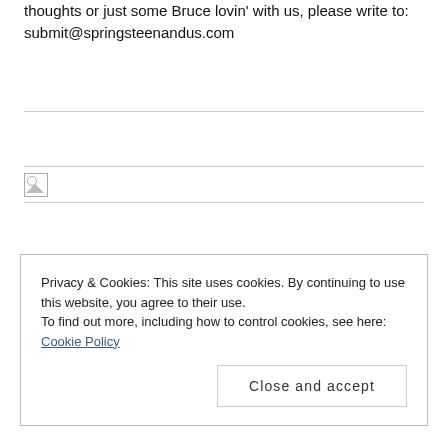thoughts or just some Bruce lovin' with us, please write to: submit@springsteenandus.com
[Figure (other): Broken image placeholder with border]
Privacy & Cookies: This site uses cookies. By continuing to use this website, you agree to their use. To find out more, including how to control cookies, see here: Cookie Policy